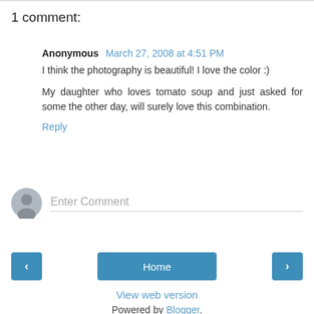1 comment:
Anonymous March 27, 2008 at 4:51 PM
I think the photography is beautiful! I love the color :)
My daughter who loves tomato soup and just asked for some the other day, will surely love this combination.
Reply
[Figure (other): Enter Comment input area with avatar icon]
[Figure (other): Navigation bar with left arrow button, Home button, and right arrow button]
View web version
Powered by Blogger.